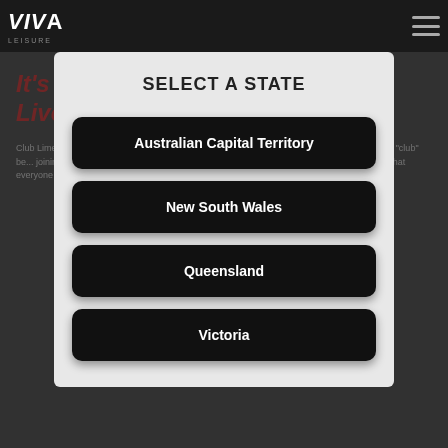[Figure (logo): VIVA Leisure logo in white on dark nav bar]
SELECT A STATE
Australian Capital Territory
New South Wales
Queensland
Victoria
Club Lime is all about helping more Australians live healthier, more active lives. ... Club Lime ... "club" ... joining facility ... club of friends ... be yourself and get fit at the same time without worrying about what everyone else is doing around you.